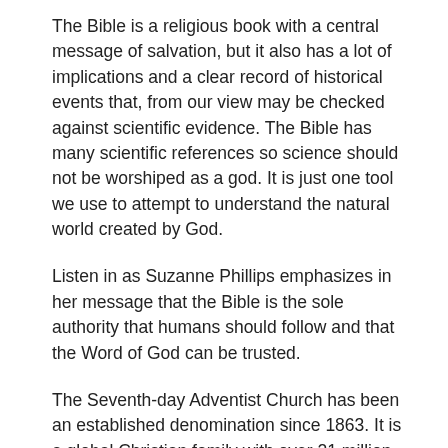The Bible is a religious book with a central message of salvation, but it also has a lot of implications and a clear record of historical events that, from our view may be checked against scientific evidence. The Bible has many scientific references so science should not be worshiped as a god. It is just one tool we use to attempt to understand the natural world created by God.
Listen in as Suzanne Phillips emphasizes in her message that the Bible is the sole authority that humans should follow and that the Word of God can be trusted.
The Seventh-day Adventist Church has been an established denomination since 1863. It is a global Christian family with over 21 million members who hold the Bible as the ultimate authority. We are believers who promise to help people understand the Bible and find freedom, healing, and hope in